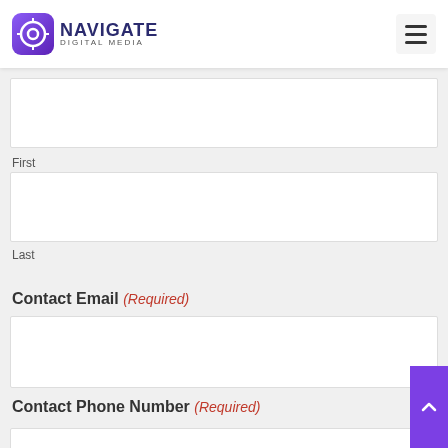Navigate Digital Media — navigation bar with logo and hamburger menu
Contact Name (Required)
First
Last
Contact Email (Required)
Contact Phone Number (Required)